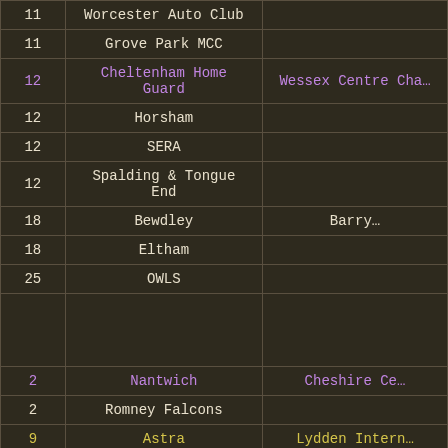| # | Club | Championship/Event |
| --- | --- | --- |
| 11 | Worcester Auto Club |  |
| 11 | Grove Park MCC |  |
| 12 | Cheltenham Home Guard | Wessex Centre Cha… |
| 12 | Horsham |  |
| 12 | SERA |  |
| 12 | Spalding & Tongue End |  |
| 18 | Bewdley | Barry… |
| 18 | Eltham |  |
| 25 | OWLS |  |
|  |  |  |
| 2 | Nantwich | Cheshire Ce… |
| 2 | Romney Falcons |  |
| 9 | Astra | Lydden Intern… |
| 9 | Bar None |  |
| 9 | Crawley | Leuke… |
| 9 | Fuesher | Midland Cent… |